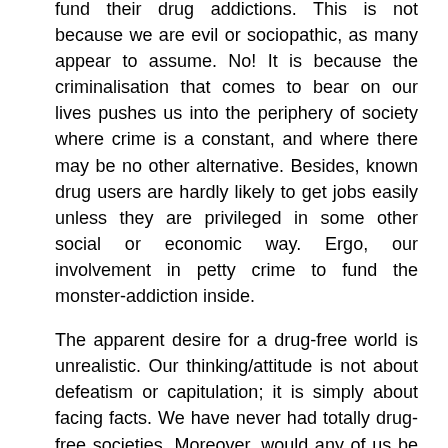fund their drug addictions. This is not because we are evil or sociopathic, as many appear to assume. No! It is because the criminalisation that comes to bear on our lives pushes us into the periphery of society where crime is a constant, and where there may be no other alternative. Besides, known drug users are hardly likely to get jobs easily unless they are privileged in some other social or economic way. Ergo, our involvement in petty crime to fund the monster-addiction inside.
The apparent desire for a drug-free world is unrealistic. Our thinking/attitude is not about defeatism or capitulation; it is simply about facing facts. We have never had totally drug-free societies. Moreover, would any of us be happy if alcohol was on a total licit ban?
So as an ex-user myself living with AIDS, I would appeal to you to reconsider your current drug policies. Is Universal needle-exchange really a lot to ask for, given the fact that we would be preventing so much decimating illness amongst us, and also not burdening our societies with enormous public health bills? Is it really so much to ask?
Before I end, I want to say this. We are not asking you to condone drug use. We are simply saying that current policies are not working for the good of ALL humanity and therefore we would ask you to be open to a more thorough debate on the subject matter. Is it really OK in your heart if we sacrifice the lives of millions of people at the alter